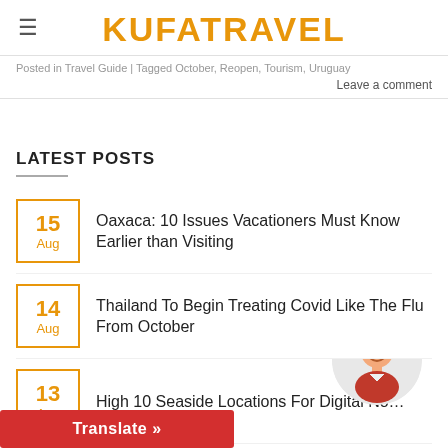KUFATRAVEL
Posted in Travel Guide | Tagged October, Reopen, Tourism, Uruguay
Leave a comment
LATEST POSTS
15 Aug — Oaxaca: 10 Issues Vacationers Must Know Earlier than Visiting
14 Aug — Thailand To Begin Treating Covid Like The Flu From October
13 Aug — High 10 Seaside Locations For Digital No…
… ity Of Seaweed Washing Up On Miami
Translate »